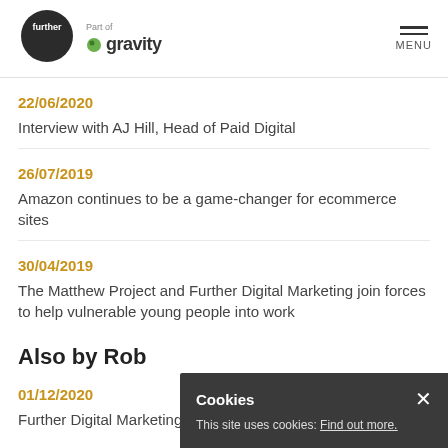further | Part of gravity | MENU
22/06/2020
Interview with AJ Hill, Head of Paid Digital
26/07/2019
Amazon continues to be a game-changer for ecommerce sites
30/04/2019
The Matthew Project and Further Digital Marketing join forces to help vulnerable young people into work
Also by Rob
01/12/2020
Further Digital Marketing i…
Cookies
This site uses cookies: Find out more.